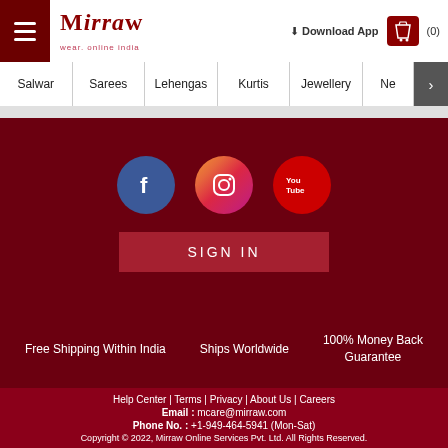[Figure (screenshot): Mirraw website header with hamburger menu, Mirraw logo, Download App button, and cart icon showing (0)]
Mirraw - wear. online india | Download App | (0)
Salwar | Sarees | Lehengas | Kurtis | Jewellery | Ne >
[Figure (illustration): Social media icons: Facebook (blue circle with f), Instagram (gradient circle with camera icon), YouTube (red circle with You Tube)]
SIGN IN
Free Shipping Within India
Ships Worldwide
100% Money Back Guarantee
Help Center | Terms | Privacy | About Us | Careers
Email : mcare@mirraw.com
Phone No. : +1-949-464-5941 (Mon-Sat)
Copyright © 2022, Mirraw Online Services Pvt. Ltd. All Rights Reserved.